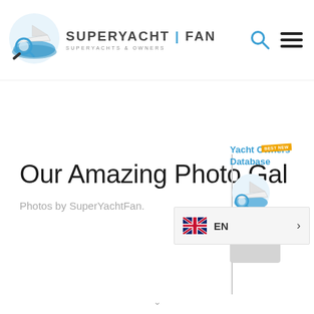[Figure (logo): SuperYachtFan logo with magnifying glass over a yacht on blue water waves, circular icon]
SUPERYACHT | FAN
SUPERYACHTS & OWNERS
Our Amazing Photo Gal
Photos by SuperYachtFan.
[Figure (illustration): Yacht Owners Database promotional widget with logo and BEST NEW badge]
EN